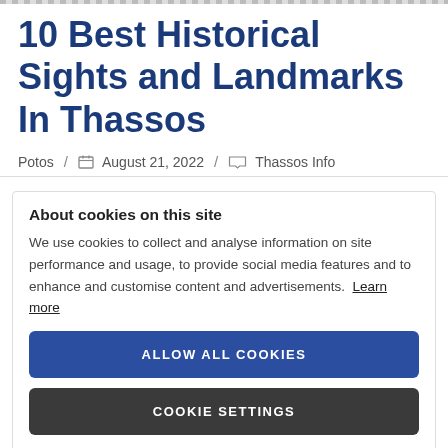10 Best Historical Sights and Landmarks In Thassos
Potos / August 21, 2022 / Thassos Info
About cookies on this site
We use cookies to collect and analyse information on site performance and usage, to provide social media features and to enhance and customise content and advertisements. Learn more
ALLOW ALL COOKIES
COOKIE SETTINGS